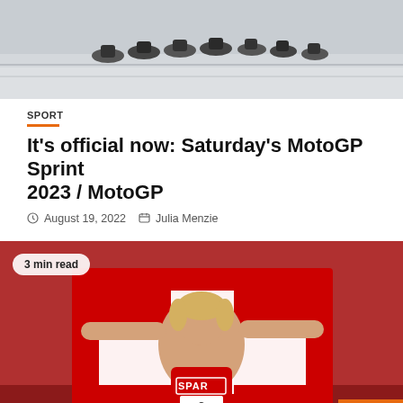[Figure (photo): Top image showing motorcycles/vehicles on a snowy or sandy track, grayscale/muted tones]
SPORT
It's official now: Saturday's MotoGP Sprint 2023 / MotoGP
August 19, 2022   Julia Menzie
[Figure (photo): Athlete (female runner) holding a Swiss flag, wearing SPAR bib number 2, Munich 2022 European Championships. Badge overlay: '3 min read'. RF SPORT logo bottom left. Orange back-to-top button bottom right.]